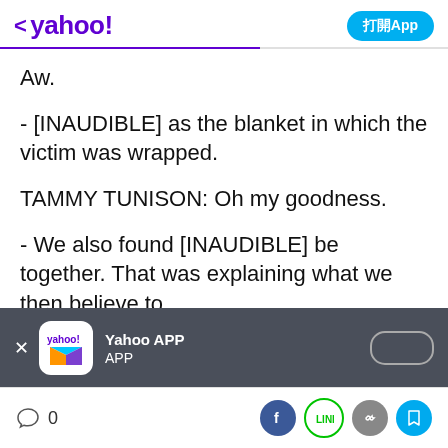< yahoo! 打開App
Aw.
- [INAUDIBLE] as the blanket in which the victim was wrapped.
TAMMY TUNISON: Oh my goodness.
- We also found [INAUDIBLE] be together. That was explaining what we then believe to
[Figure (screenshot): Yahoo APP download banner overlay with app icon, 'Yahoo APP APP' text, close button and install button]
Comment 0 | Share icons: Facebook, LINE, link, bookmark